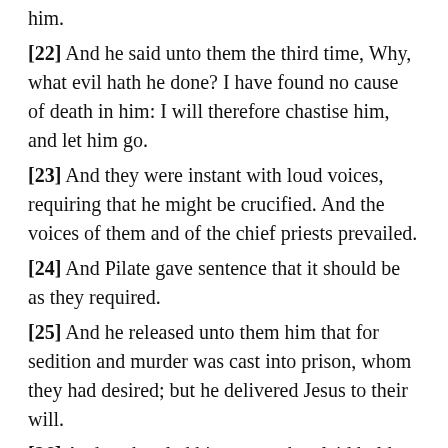him.
[22] And he said unto them the third time, Why, what evil hath he done? I have found no cause of death in him: I will therefore chastise him, and let him go.
[23] And they were instant with loud voices, requiring that he might be crucified. And the voices of them and of the chief priests prevailed.
[24] And Pilate gave sentence that it should be as they required.
[25] And he released unto them him that for sedition and murder was cast into prison, whom they had desired; but he delivered Jesus to their will.
[26] And as they led him away, they laid hold upon one Simon, a Cyrenian, coming out of the